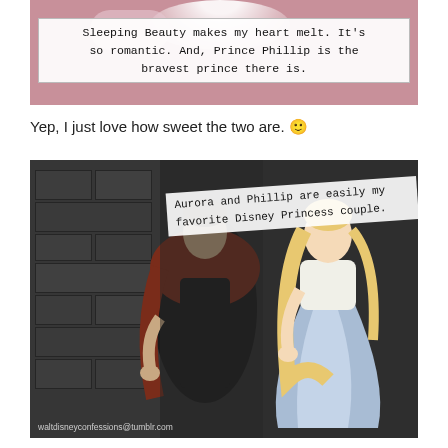[Figure (illustration): Screenshot from Sleeping Beauty (Disney) showing characters in pink/rose background with a white text box overlay containing a quote about Sleeping Beauty and Prince Phillip.]
Yep, I just love how sweet the two are. 🙂
[Figure (illustration): Screenshot from Sleeping Beauty (Disney) showing Prince Phillip and Aurora (Princess) in a dark stone castle setting. A rotated white text box overlay reads: 'Aurora and Phillip are easily my favorite Disney Princess couple.' Watermark: waltdisneyconfessions@tumblr.com]